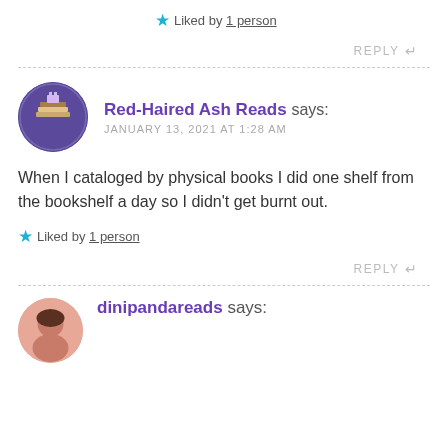★ Liked by 1 person
REPLY ↩
Red-Haired Ash Reads says: JANUARY 13, 2021 AT 1:28 AM
When I cataloged by physical books I did one shelf from the bookshelf a day so I didn't get burnt out.
★ Liked by 1 person
REPLY ↩
dinipandareads says: